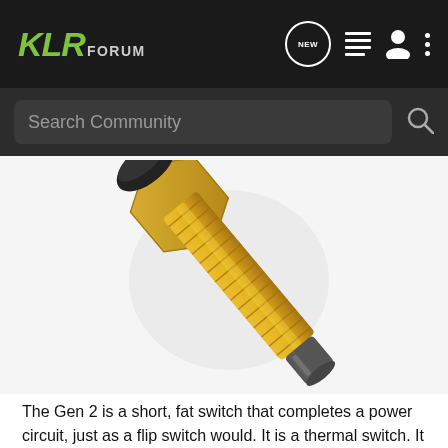KLR FORUM
[Figure (photo): A brass threaded thermal switch / temperature sensor bolt with hexagonal nut head and metallic tip, photographed diagonally on white background]
The Gen 2 is a short, fat switch that completes a power circuit, just as a flip switch would. It is a thermal switch. It handles the